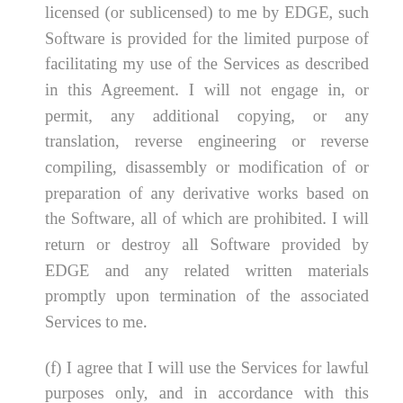licensed (or sublicensed) to me by EDGE, such Software is provided for the limited purpose of facilitating my use of the Services as described in this Agreement. I will not engage in, or permit, any additional copying, or any translation, reverse engineering or reverse compiling, disassembly or modification of or preparation of any derivative works based on the Software, all of which are prohibited. I will return or destroy all Software provided by EDGE and any related written materials promptly upon termination of the associated Services to me.
(f) I agree that I will use the Services for lawful purposes only, and in accordance with this Agreement, the Terms of Use and the Tariff(s).
(g) I agree to be responsible for protecting the